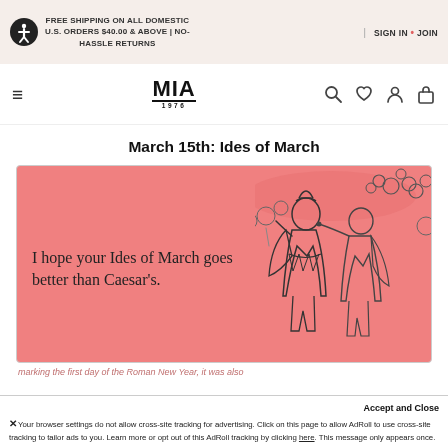FREE SHIPPING ON ALL DOMESTIC U.S. ORDERS $40.00 & ABOVE | NO-HASSLE RETURNS | SIGN IN • JOIN
[Figure (logo): MIA 1976 brand logo with hamburger menu and navigation icons (search, wishlist, account, cart)]
March 15th: Ides of March
[Figure (illustration): Pink ecard image with text 'I hope your Ides of March goes better than Caesar's.' alongside a vintage-style illustration of Roman figures including Caesar being confronted]
marking the first day of the Roman New Year, it was also
Accept and Close
×Your browser settings do not allow cross-site tracking for advertising. Click on this page to allow AdRoll to use cross-site tracking to tailor ads to you. Learn more or opt out of this AdRoll tracking by clicking here. This message only appears once.